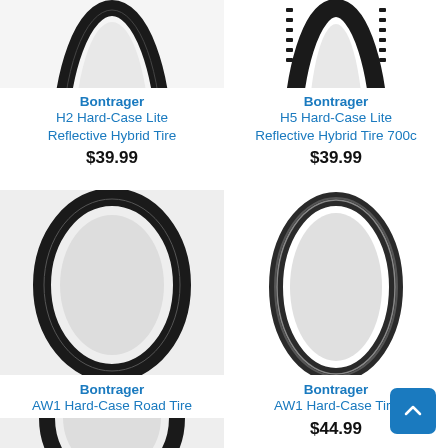[Figure (photo): Bontrager H2 Hard-Case Lite Reflective Hybrid Tire - top portion of tire]
Bontrager
H2 Hard-Case Lite Reflective Hybrid Tire
$39.99
[Figure (photo): Bontrager H5 Hard-Case Lite Reflective Hybrid Tire 700c - top portion of tire with knobby tread]
Bontrager
H5 Hard-Case Lite Reflective Hybrid Tire 700c
$39.99
[Figure (photo): Bontrager AW1 Hard-Case Road Tire - full tire loop view]
Bontrager
AW1 Hard-Case Road Tire
$44.99
[Figure (photo): Bontrager AW1 Hard-Case Tire - full tire loop view]
Bontrager
AW1 Hard-Case Tire
$44.99
[Figure (photo): Another Bontrager tire - partial bottom view]